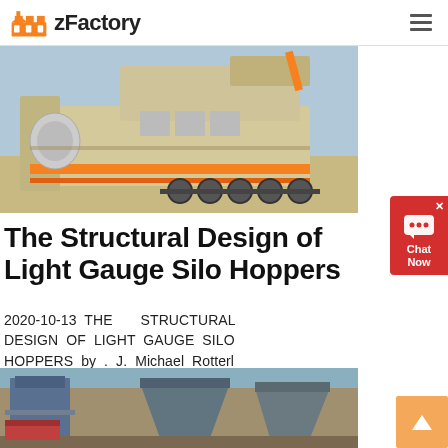zFactory
[Figure (photo): Large industrial mobile crusher/screening machine on a flatbed truck in an outdoor sandy environment, with orange accents and heavy machinery components visible.]
The Structural Design of Light Gauge Silo Hoppers
2020-10-13 THE STRUCTURAL DESIGN OF LIGHT GAUGE SILO HOPPERS by . J. Michael Rotterl Synopsis Elevated light gauge silos usually have a conical
[Figure (photo): Industrial steel silo or hopper structures in an outdoor setting, showing conical/angular metalwork components.]